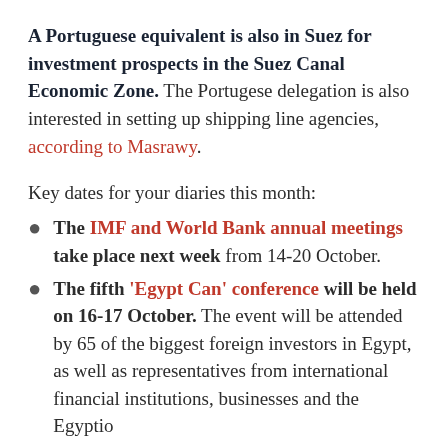A Portuguese equivalent is also in Suez for investment prospects in the Suez Canal Economic Zone. The Portugese delegation is also interested in setting up shipping line agencies, according to Masrawy.
Key dates for your diaries this month:
The IMF and World Bank annual meetings take place next week from 14-20 October.
The fifth 'Egypt Can' conference will be held on 16-17 October. The event will be attended by 65 of the biggest foreign investors in Egypt, as well as representatives from international financial institutions, businesses and the Egyptian...